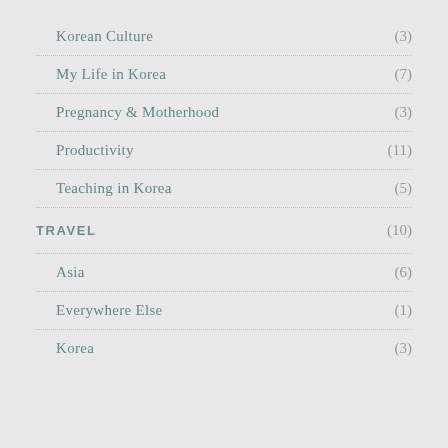Korean Culture (3)
My Life in Korea (7)
Pregnancy & Motherhood (3)
Productivity (11)
Teaching in Korea (5)
TRAVEL (10)
Asia (6)
Everywhere Else (1)
Korea (3)